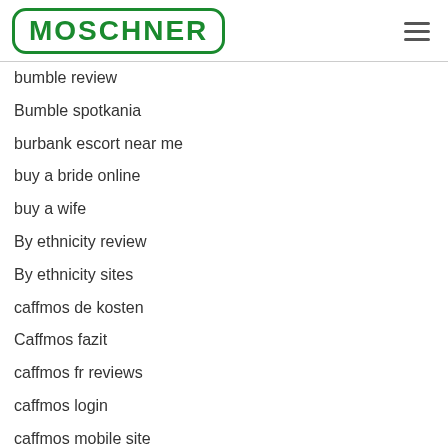MOSCHNER
bumble review
Bumble spotkania
burbank escort near me
buy a bride online
buy a wife
By ethnicity review
By ethnicity sites
caffmos de kosten
Caffmos fazit
caffmos fr reviews
caffmos login
caffmos mobile site